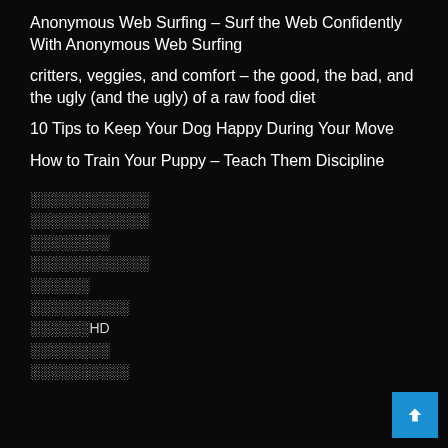Anonymous Web Surfing – Surf the Web Confidently With Anonymous Web Surfing
critters, veggies, and comfort – the good, the bad, and the ugly (and the ugly) of a raw food diet
10 Tips to Keep Your Dog Happy During Your Move
How to Train Your Puppy – Teach Them Discipline
░░░░░░░░░░░░
░░░░░░░░░░░░
░░░░░░░░
░░░░░░░░░░░░
░░░░░░
░░░░░░░░░░
░░░░░░HD
░░░░░░░░
░░░░░░░░░░